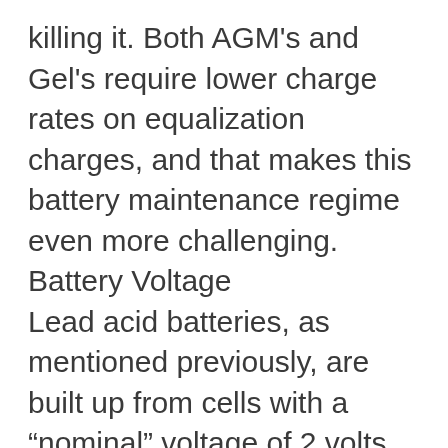killing it. Both AGM's and Gel's require lower charge rates on equalization charges, and that makes this battery maintenance regime even more challenging.
Battery Voltage
Lead acid batteries, as mentioned previously, are built up from cells with a “nominal” voltage of 2 volts. Battery banks for RE systems are made up of combinations of cells to achieve nominal